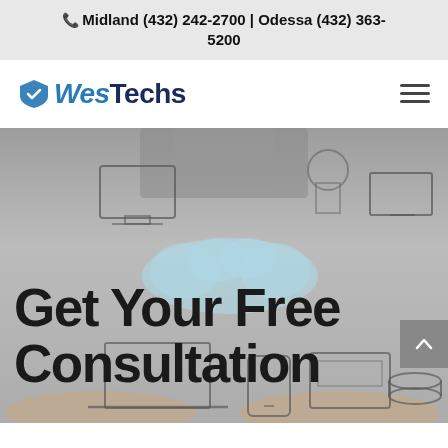📞 Midland (432) 242-2700 | Odessa (432) 363-5200
[Figure (logo): WesTechs company logo with shield icon and hamburger menu icon]
[Figure (photo): Hero banner image: business person holding devices with cloud computing icons overlay, semi-transparent grey background]
Get Your Free Consultation